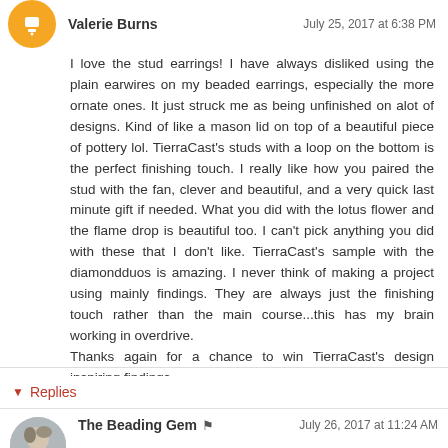Valerie Burns — July 25, 2017 at 6:38 PM
I love the stud earrings! I have always disliked using the plain earwires on my beaded earrings, especially the more ornate ones. It just struck me as being unfinished on alot of designs. Kind of like a mason lid on top of a beautiful piece of pottery lol. TierraCast's studs with a loop on the bottom is the perfect finishing touch. I really like how you paired the stud with the fan, clever and beautiful, and a very quick last minute gift if needed. What you did with the lotus flower and the flame drop is beautiful too. I can't pick anything you did with these that I don't like. TierraCast's sample with the diamondduos is amazing. I never think of making a project using mainly findings. They are always just the finishing touch rather than the main course...this has my brain working in overdrive.
Thanks again for a chance to win TierraCast's design inspiring findings.
Reply
▼ Replies
The Beading Gem ✦ — July 26, 2017 at 11:24 AM
I totally agree with you Valerie about plain ear wires